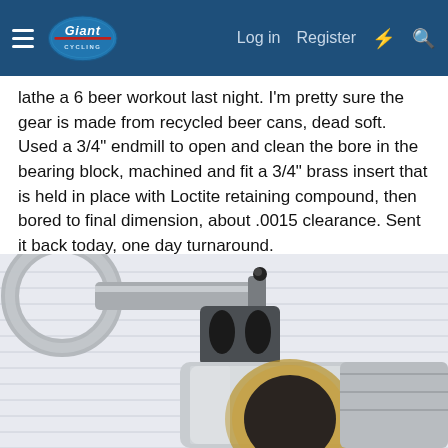Giant | Log in | Register
lathe a 6 beer workout last night. I'm pretty sure the gear is made from recycled beer cans, dead soft.
Used a 3/4" endmill to open and clean the bore in the bearing block, machined and fit a 3/4" brass insert that is held in place with Loctite retaining compound, then bored to final dimension, about .0015 clearance. Sent it back today, one day turnaround.
[Figure (photo): Close-up photo of a micrometer measuring a machined aluminum bearing block with a visible brass insert and bored hole, placed on lined paper.]